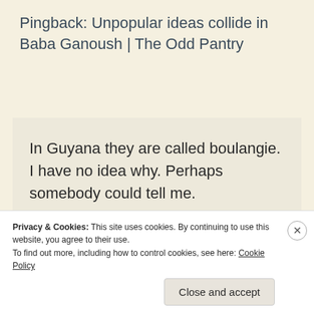Pingback: Unpopular ideas collide in Baba Ganoush | The Odd Pantry
In Guyana they are called boulangie. I have no idea why. Perhaps somebody could tell me.
★ Like
Privacy & Cookies: This site uses cookies. By continuing to use this website, you agree to their use.
To find out more, including how to control cookies, see here: Cookie Policy
Close and accept